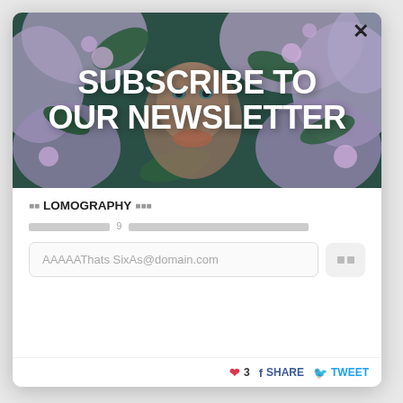[Figure (photo): Woman's face partially hidden by purple/lilac flowers and green leaves, with bold white text overlay reading 'SUBSCRIBE TO OUR NEWSLETTER']
🟫 LOMOGRAPHY 🟫🟫🟫
░░░░░░░░░░░░░ 9 ░░░░░░░░░░░░░░░░░░░░░░░░░░░░░░░░░░░░░░░░░░░░░░
AAAAAThatsSixAs@domain.com
❤ 3  f SHARE  🐦 TWEET